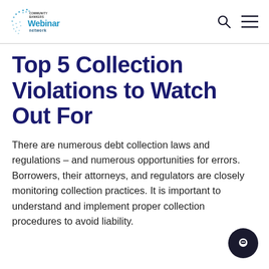Community Bankers Webinar Network
Top 5 Collection Violations to Watch Out For
There are numerous debt collection laws and regulations – and numerous opportunities for errors. Borrowers, their attorneys, and regulators are closely monitoring collection practices. It is important to understand and implement proper collection procedures to avoid liability.